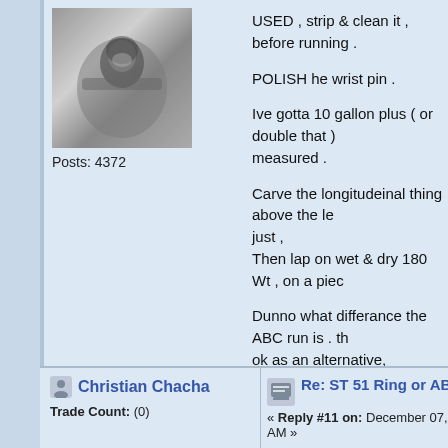[Figure (photo): Black and white photo of a pilot in an aircraft cockpit]
Posts: 4372
USED , strip & clean it , before running .
POLISH he wrist pin .
Ive gotta 10 gallon plus ( or double that ) measured .
Carve the longitudeinal thing above the le just , Then lap on wet & dry 180 Wt , on a piec
Dunno what differance the ABC run is . th ok as an alternative, perhaps .
G 51s dont hurry the run in . A few hours can first . Then itll last forever . No nitro for the first hour too , cept maybe
[Figure (illustration): Cowboy smiley face emoji]
Christian Chacha
Trade Count: (0)
Re: ST 51 Ring or ABC?
« Reply #11 on: December 07, 2021, 08:1 AM »